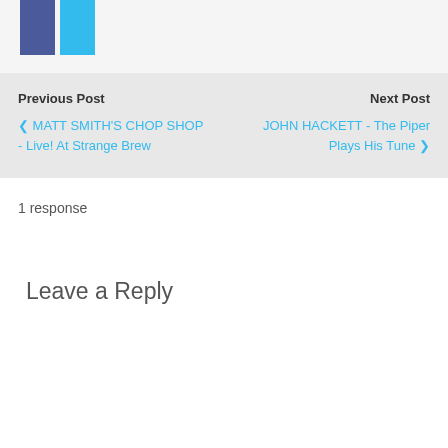[Figure (other): Two social media icon buttons: Facebook (dark blue/purple) and Twitter (light blue), side by side]
Previous Post
< MATT SMITH'S CHOP SHOP - Live! At Strange Brew
Next Post
JOHN HACKETT - The Piper Plays His Tune >
1 response
Leave a Reply